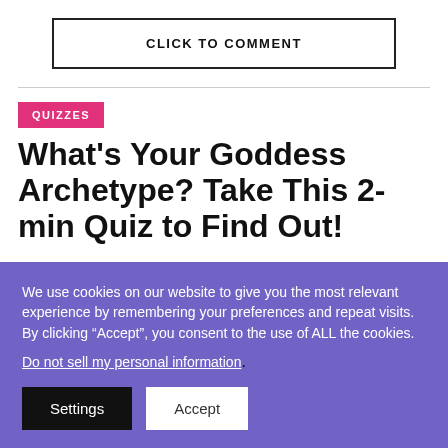CLICK TO COMMENT
QUIZZES
What's Your Goddess Archetype? Take This 2-min Quiz to Find Out!
We use cookies on our website to give you the most relevant experience by remembering your preferences and repeat visits. By clicking “Accept”, you consent to the use of ALL the cookies. Do not sell my personal information.
Settings
Accept